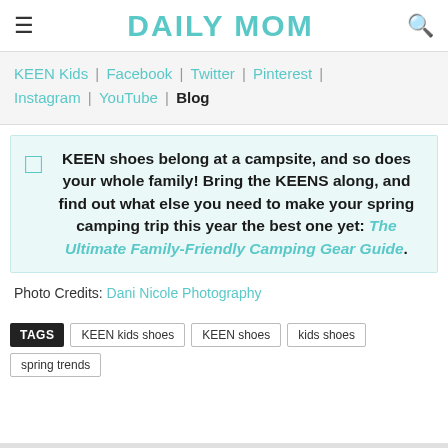DAILY MOM
KEEN Kids | Facebook | Twitter | Pinterest | Instagram | YouTube | Blog
KEEN shoes belong at a campsite, and so does your whole family! Bring the KEENS along, and find out what else you need to make your spring camping trip this year the best one yet: The Ultimate Family-Friendly Camping Gear Guide.
Photo Credits: Dani Nicole Photography
TAGS   KEEN kids shoes   KEEN shoes   kids shoes   spring trends